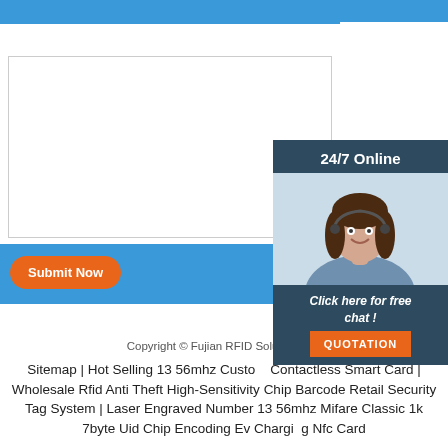Message:
[Figure (screenshot): Contact form with Message label and text area input box, blue submit area with orange Submit Now button]
[Figure (photo): 24/7 Online chat widget with customer service agent photo, 'Click here for free chat!' text, and orange QUOTATION button]
Copyright © Fujian RFID Solution Co.,
Sitemap | Hot Selling 13 56mhz Custom Contactless Smart Card | Wholesale Rfid Anti Theft High-Sensitivity Chip Barcode Retail Security Tag System | Laser Engraved Number 13 56mhz Mifare Classic 1k 7byte Uid Chip Encoding Ev Charging Nfc Card